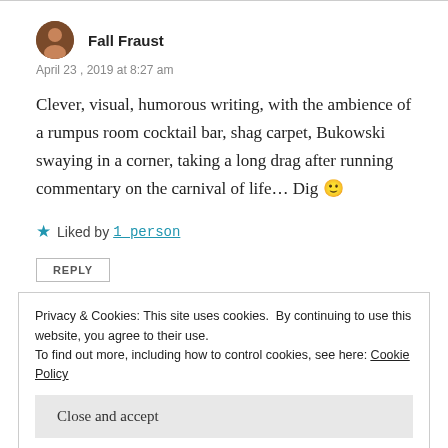Fall Fraust
April 23, 2019 at 8:27 am
Clever, visual, humorous writing, with the ambience of a rumpus room cocktail bar, shag carpet, Bukowski swaying in a corner, taking a long drag after running commentary on the carnival of life… Dig 🙂
Liked by 1 person
REPLY
Privacy & Cookies: This site uses cookies. By continuing to use this website, you agree to their use. To find out more, including how to control cookies, see here: Cookie Policy
Close and accept
Thank you so much 😊